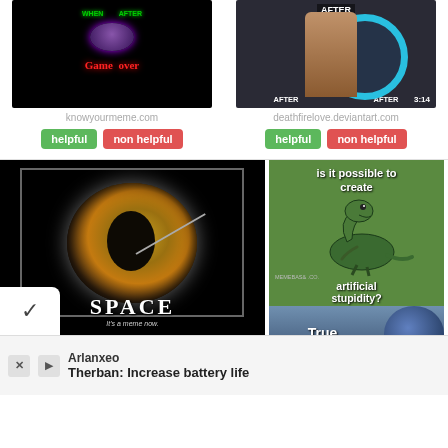[Figure (screenshot): Meme image with dark background featuring GLaDOS character, green/purple colors, text overlay]
knowyourmeme.com
helpful | non helpful
[Figure (screenshot): Portal game fan art showing character before/after with portal ring, labeled AFTER]
deathfirelove.deviantart.com
helpful | non helpful
[Figure (photo): SPACE demotivational poster featuring GLaDOS eye/turret close-up, text reads SPACE it's a thing now]
[Figure (screenshot): Philosoraptor meme: is it possible to create artificial stupidity? True (with GLaDOS)]
Arlanxeo
Therban: Increase battery life